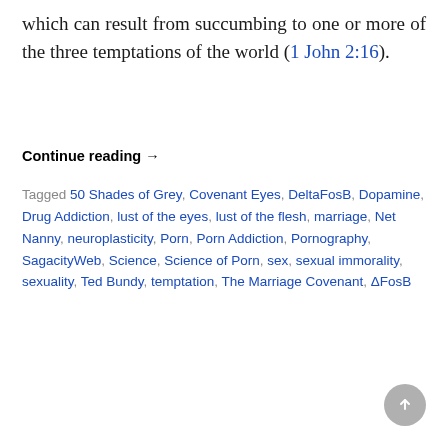which can result from succumbing to one or more of the three temptations of the world (1 John 2:16).
Continue reading →
Tagged 50 Shades of Grey, Covenant Eyes, DeltaFosB, Dopamine, Drug Addiction, lust of the eyes, lust of the flesh, marriage, Net Nanny, neuroplasticity, Porn, Porn Addiction, Pornography, SagacityWeb, Science, Science of Porn, sex, sexual immorality, sexuality, Ted Bundy, temptation, The Marriage Covenant, ΔFosB